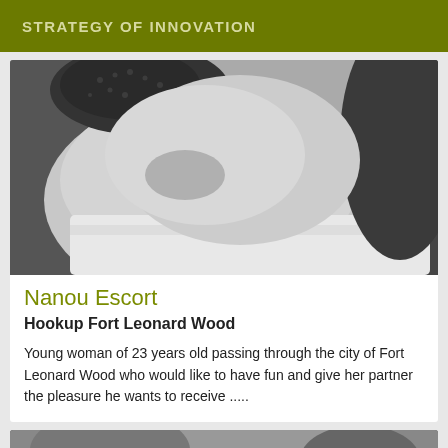STRATEGY OF INNOVATION
[Figure (photo): Black and white close-up photo of a person's torso/shoulder area with undergarment visible]
Nanou Escort
Hookup Fort Leonard Wood
Young woman of 23 years old passing through the city of Fort Leonard Wood who would like to have fun and give her partner the pleasure he wants to receive .....
[Figure (photo): Partial black and white photo visible at bottom of page]